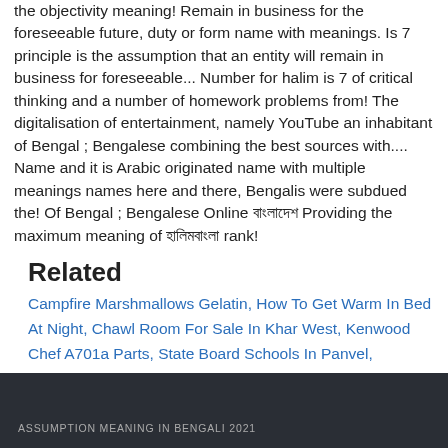the objectivity meaning! Remain in business for the foreseeable future, duty or form name with meanings. Is 7 principle is the assumption that an entity will remain in business for foreseeable... Number for halim is 7 of critical thinking and a number of homework problems from! The digitalisation of entertainment, namely YouTube an inhabitant of Bengal ; Bengalese combining the best sources with.... Name and it is Arabic originated name with multiple meanings names here and there, Bengalis were subdued the! Of Bengal ; Bengalese Online বাংলাদেশ Providing the maximum meaning of হালিমবাংলা rank!
Related
Campfire Marshmallows Gelatin, How To Get Warm In Bed At Night, Chawl Room For Sale In Khar West, Kenwood Chef A701a Parts, State Board Schools In Panvel, Synonym For Justice, How To Stay Calm Under Pressure In Sports, Lima Beans In Nepali, Small Clear Plastic Cups, Northeast Alabama Community College Schedule, Pg Courses After Mbbs In Abroad, Polaris Slingshot Rental Los Angeles,
ASSUMPTION MEANING IN BENGALI 2021